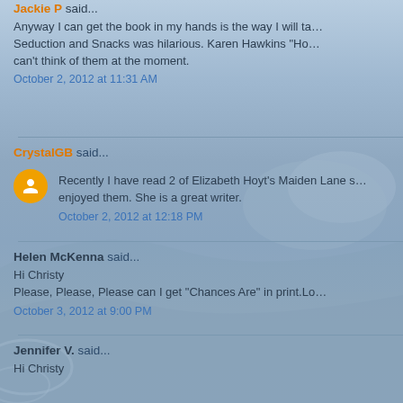Jackie P said... Anyway I can get the book in my hands is the way I will ta... Seduction and Snacks was hilarious. Karen Hawkins "Ho... can't think of them at the moment.
October 2, 2012 at 11:31 AM
CrystalGB said... Recently I have read 2 of Elizabeth Hoyt's Maiden Lane s... enjoyed them. She is a great writer.
October 2, 2012 at 12:18 PM
Helen McKenna said... Hi Christy Please, Please, Please can I get "Chances Are" in print.Lo...
October 3, 2012 at 9:00 PM
Jennifer V. said... Hi Christy